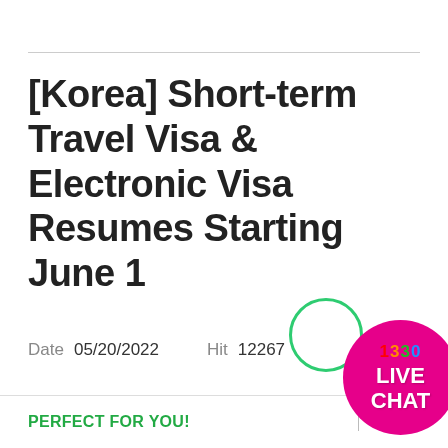[Korea] Short-term Travel Visa & Electronic Visa Resumes Starting June 1
Date  05/20/2022    Hit  12267
[Figure (illustration): Pink circular live chat badge with '1330' in multicolor text at top and 'LIVE CHAT' in white bold text below, overlapping a partial green circle outline]
PERFECT FOR YOU!
VIEW